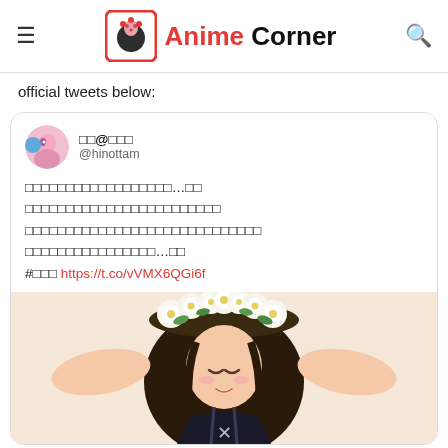Anime Corner
official tweets below:
[Figure (screenshot): Embedded tweet from @hinottam with Japanese text, a hashtag, a link https://t.co/vVMX6QGi6f, and an anime illustration of a girl with a white flower crown]
×